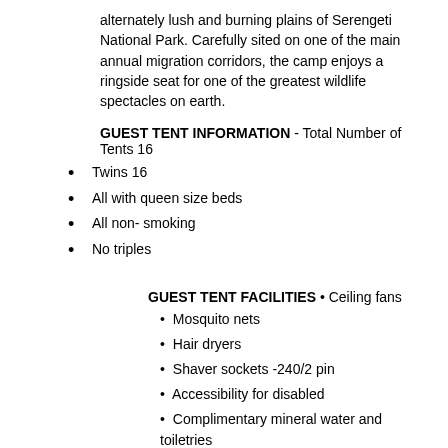alternately lush and burning plains of Serengeti National Park. Carefully sited on one of the main annual migration corridors, the camp enjoys a ringside seat for one of the greatest wildlife spectacles on earth.
GUEST TENT INFORMATION - Total Number of Tents 16
Twins 16
All with queen size beds
All non- smoking
No triples
GUEST TENT FACILITIES • Ceiling fans
• Mosquito nets
• Hair dryers
• Shaver sockets -240/2 pin
• Accessibility for disabled
• Complimentary mineral water and toiletries
GUEST SERVICES
Laundry and V alet services
24 hour on call medical services
24 hour electricity
Baby-sitting, Children's menus